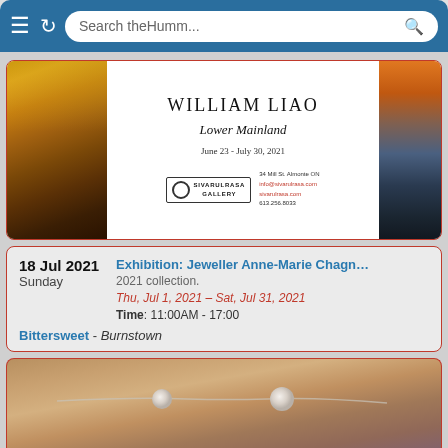Search theHumm...
[Figure (photo): William Liao exhibition advertisement for 'Lower Mainland' at Sivarulrasa Gallery, June 23 - July 30, 2021. Shows two landscape paintings and gallery details.]
18 Jul 2021
Sunday
Exhibition: Jeweller Anne-Marie Chagn...
2021 collection.
Thu, Jul 1, 2021 - Sat, Jul 31, 2021
Time: 11:00AM - 17:00
Bittersweet - Burnstown
[Figure (photo): Close-up photo of a person's neck and chest area wearing a pearl/bead necklace with a chain.]